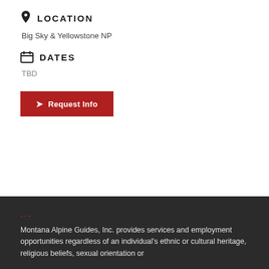LOCATION
Big Sky & Yellowstone NP
DATES
TBD
Request Info
...
Montana Alpine Guides, Inc. provides services and employment opportunities regardless of an individual's ethnic or cultural heritage, religious beliefs, sexual orientation or